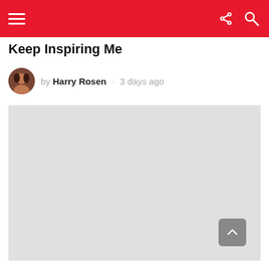Navigation bar with hamburger menu, share icon, and search icon
Keep Inspiring Me
by Harry Rosen · 3 days ago
[Figure (photo): Large light grey placeholder image area for article content]